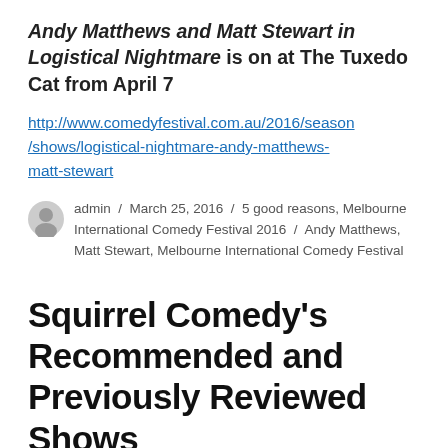Andy Matthews and Matt Stewart in Logistical Nightmare is on at The Tuxedo Cat from April 7
http://www.comedyfestival.com.au/2016/season/shows/logistical-nightmare-andy-matthews-matt-stewart
admin / March 25, 2016 / 5 good reasons, Melbourne International Comedy Festival 2016 / Andy Matthews, Matt Stewart, Melbourne International Comedy Festival
Squirrel Comedy's Recommended and Previously Reviewed Shows